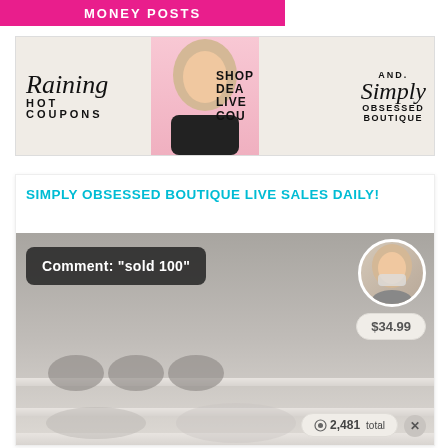[Figure (screenshot): Pink banner with white bold text 'MONEY POSTS' at top of page]
[Figure (infographic): Advertisement banner for Raining Hot Coupons and Simply Obsessed Boutique. Shows a blonde woman in center with pink background, text 'SHOP DEA LIVE COU' in center, 'Raining HOT COUPONS' in cursive on left, and 'AND. Simply OBSESSED BOUTIQUE' on right.]
SIMPLY OBSESSED BOUTIQUE LIVE SALES DAILY!
[Figure (screenshot): Screenshot of a live shopping video. Dark overlay with text 'Comment: "sold 100"'. A circular avatar of a blonde woman wearing a mask is shown in the upper right. A price badge shows $34.99. A viewer count badge shows 2,481 total. A close (X) button is visible at bottom right.]